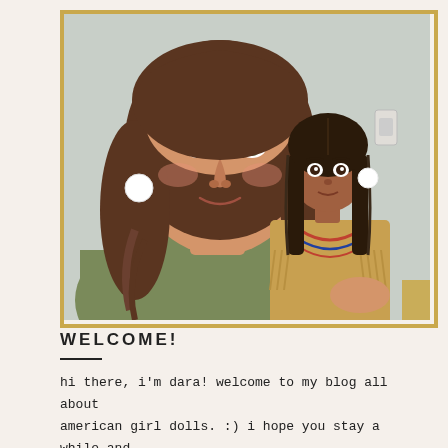[Figure (photo): A young woman with long brown hair holding an American Girl doll dressed in Native American-style regalia with braids and fringe. The photo has a gold/yellow border accent in the bottom right corner.]
WELCOME!
hi there, i'm dara! welcome to my blog all about american girl dolls. :) i hope you stay a while and